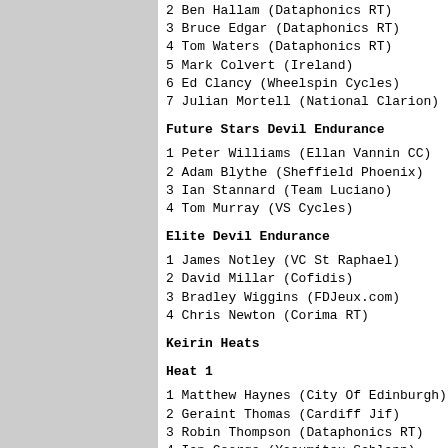2 Ben Hallam (Dataphonics RT)
3 Bruce Edgar (Dataphonics RT)
4 Tom Waters (Dataphonics RT)
5 Mark Colvert (Ireland)
6 Ed Clancy (Wheelspin Cycles)
7 Julian Mortell (National Clarion)
Future Stars Devil Endurance
1 Peter Williams (Ellan Vannin CC)
2 Adam Blythe (Sheffield Phoenix)
3 Ian Stannard (Team Luciano)
4 Tom Murray (VS Cycles)
Elite Devil Endurance
1 James Notley (VC St Raphael)
2 David Millar (Cofidis)
3 Bradley Wiggins (FDJeux.com)
4 Chris Newton (Corima RT)
Keirin Heats
Heat 1
1 Matthew Haynes (City Of Edinburgh)
2 Geraint Thomas (Cardiff Jif)
3 Robin Thompson (Dataphonics RT)
4 Ian George (Yasumitsu Schlapp)
5 Malcolm Coggin (Ireland)
6 Mark Cavendish (Dataphonics RT)
Heat 2